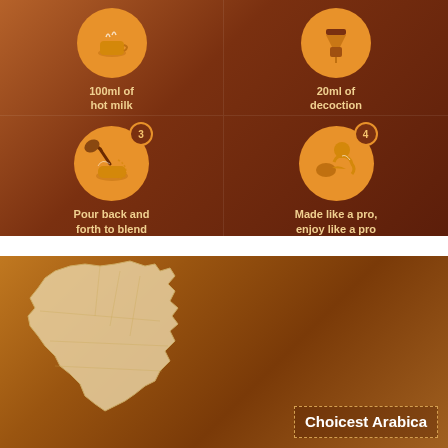[Figure (infographic): Four-step coffee preparation infographic on brown gradient background. Top-left: circle icon with milk steam, step 1, '100ml of hot milk'. Top-right: circle icon with decoction, step 2, '20ml of decoction'. Bottom-left: circle icon showing pouring coffee back and forth step 3, 'Pour back and forth to blend'. Bottom-right: circle icon showing person drinking coffee, step 4, 'Made like a pro, enjoy like a pro'.]
[Figure (map): Map of Karnataka state (India) in light tan/cream on brown gradient background. Bottom right has a dashed border label box reading 'Choicest Arabica'.]
Choicest Arabica